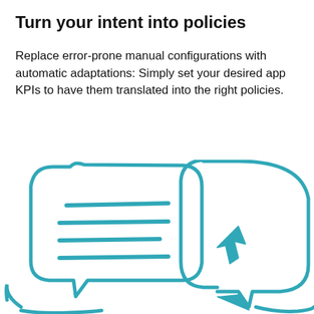Turn your intent into policies
Replace error-prone manual configurations with automatic adaptations: Simply set your desired app KPIs to have them translated into the right policies.
[Figure (illustration): Hand-drawn style teal/turquoise illustration showing chat bubbles and speech bubbles with horizontal lines inside them representing text, along with an arrow cursor icon, suggesting policy configuration interface]